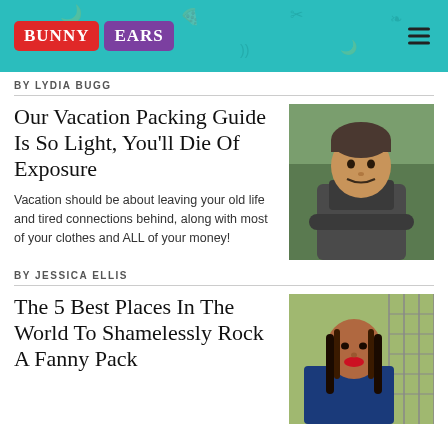Bunny Ears
BY LYDIA BUGG
Our Vacation Packing Guide Is So Light, You'll Die Of Exposure
[Figure (photo): Man in winter jacket and beanie hat outdoors]
Vacation should be about leaving your old life and tired connections behind, along with most of your clothes and ALL of your money!
BY JESSICA ELLIS
The 5 Best Places In The World To Shamelessly Rock A Fanny Pack
[Figure (photo): Young woman with braids against chain-link fence]